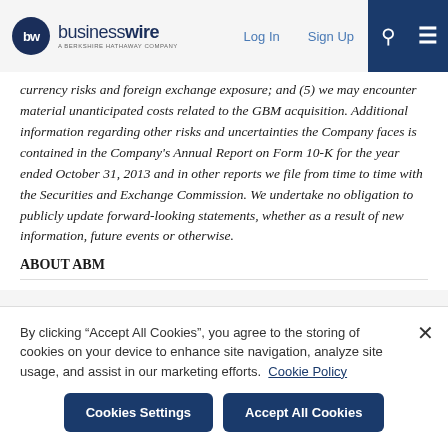businesswire — A BERKSHIRE HATHAWAY COMPANY | Log In | Sign Up
currency risks and foreign exchange exposure; and (5) we may encounter material unanticipated costs related to the GBM acquisition. Additional information regarding other risks and uncertainties the Company faces is contained in the Company's Annual Report on Form 10-K for the year ended October 31, 2013 and in other reports we file from time to time with the Securities and Exchange Commission. We undertake no obligation to publicly update forward-looking statements, whether as a result of new information, future events or otherwise.
ABOUT ABM
By clicking “Accept All Cookies”, you agree to the storing of cookies on your device to enhance site navigation, analyze site usage, and assist in our marketing efforts. Cookie Policy
Cookies Settings | Accept All Cookies